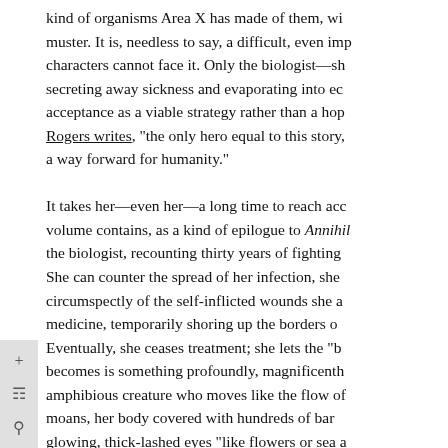kind of organisms Area X has made of them, wi muster. It is, needless to say, a difficult, even imp characters cannot face it. Only the biologist—sh secreting away sickness and evaporating into ec acceptance as a viable strategy rather than a hop Rogers writes, "the only hero equal to this story, a way forward for humanity."

It takes her—even her—a long time to reach acc volume contains, as a kind of epilogue to Annihil the biologist, recounting thirty years of fighting She can counter the spread of her infection, she circumspectly of the self-inflicted wounds she a medicine, temporarily shoring up the borders o Eventually, she ceases treatment; she lets the "b becomes is something profoundly, magnificenth amphibious creature who moves like the flow of moans, her body covered with hundreds of bar glowing, thick-lashed eyes "like flowers or sea a (Acceptance 493).